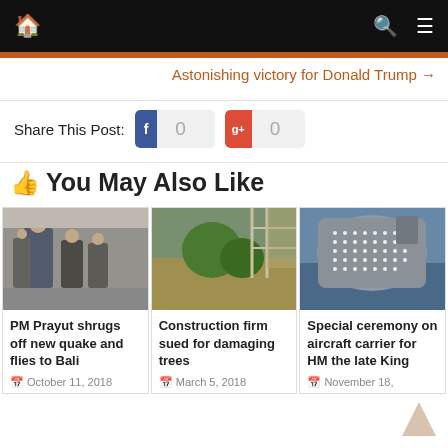Navigation bar with home, search, and menu icons
Astonishing victory for Donald Trump →
Share This Post: 0 0
You May Also Like
[Figure (photo): Photo of PM Prayut with other officials in formal attire]
PM Prayut shrugs off new quake and flies to Bali
October 11, 2018
[Figure (photo): Photo of construction area with trees and building structure]
Construction firm sued for damaging trees
March 5, 2018
[Figure (photo): Aerial photo of aircraft carrier with crew in formation]
Special ceremony on aircraft carrier for HM the late King
November 18,